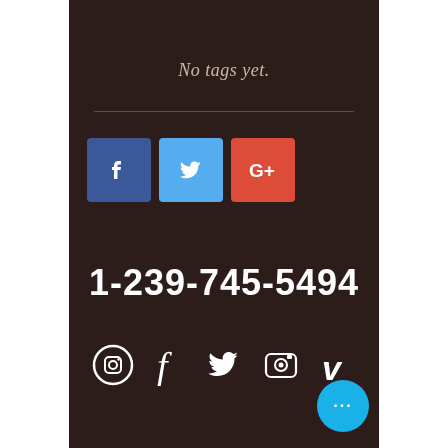No tags yet.
[Figure (illustration): Social share buttons: Facebook (blue), Twitter (light blue), Google+ (red)]
1-239-745-5494
[Figure (illustration): Social media icon row: Instagram, Facebook, Twitter, Instagram camera, Vimeo]
[Figure (illustration): Blue circular chat button with three dots]